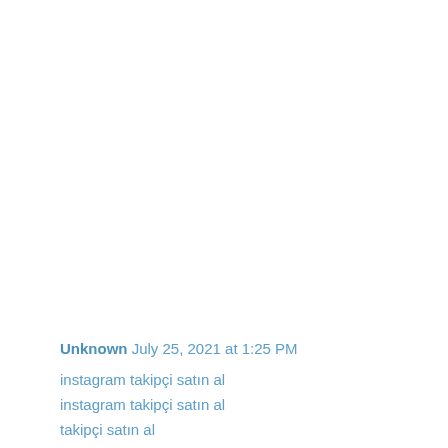Unknown  July 25, 2021 at 1:25 PM
instagram takipçi satın al
instagram takipçi satın al
takipçi satın al
instagram takipçi satın al
instagram takipçi satın al